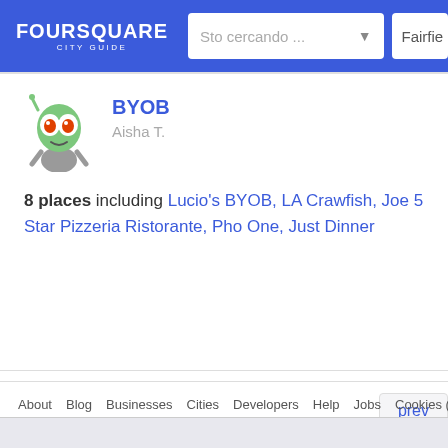FOURSQUARE CITY GUIDE — Sto cercando ... — Fairfie
BYOB
Aisha T.
8 places including Lucio's BYOB, LA Crawfish, Joe 5 Star Pizzeria Ristorante, Pho One, Just Dinner
About Blog Businesses Cities Developers Help Jobs Cookies (Updated) Pr